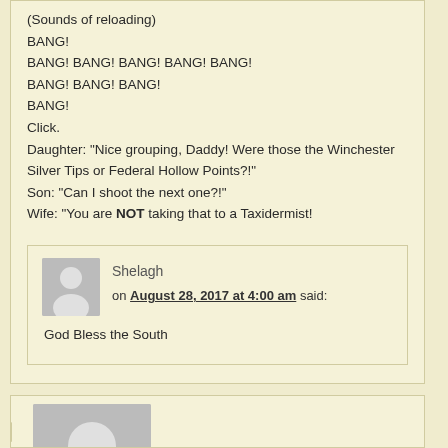(Sounds of reloading)
BANG!
BANG! BANG! BANG! BANG! BANG!
BANG! BANG! BANG!
BANG!
Click.
Daughter: "Nice grouping, Daddy! Were those the Winchester Silver Tips or Federal Hollow Points?!"
Son: "Can I shoot the next one?!"
Wife: "You are NOT taking that to a Taxidermist!
Shelagh on August 28, 2017 at 4:00 am said: God Bless the South